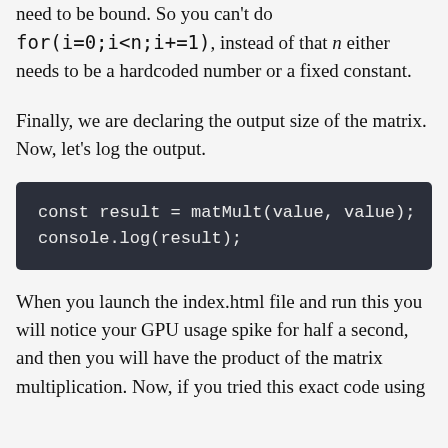need to be bound. So you can't do for(i=0;i<n;i+=1), instead of that n either needs to be a hardcoded number or a fixed constant.
Finally, we are declaring the output size of the matrix. Now, let's log the output.
const result = matMult(value, value);
console.log(result);
When you launch the index.html file and run this you will notice your GPU usage spike for half a second, and then you will have the product of the matrix multiplication. Now, if you tried this exact code using